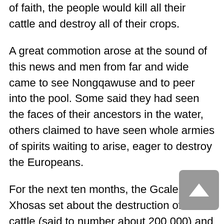of faith, the people would kill all their cattle and destroy all of their crops.
A great commotion arose at the sound of this news and men from far and wide came to see Nongqawuse and to peer into the pool. Some said they had seen the faces of their ancestors in the water, others claimed to have seen whole armies of spirits waiting to arise, eager to destroy the Europeans.
For the next ten months, the Gcaleka Xhosas set about the destruction of all the cattle (said to number about 200 000) and crops. Then, on the appointed day, the 18th of February 1857, they awaited the rising of a blood red sun, the awakening of vast spirit armies and the arrival of fat cattle and ripe crops. The sun arose that morning just the same as it always had, there were no armies, no crops and no cattle, only ruin and the grim prospect of starvation. An